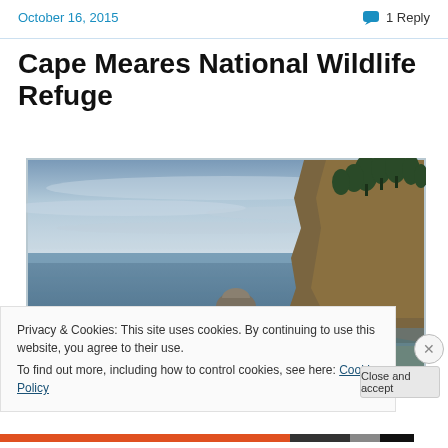October 16, 2015    1 Reply
Cape Meares National Wildlife Refuge
[Figure (photo): Panoramic coastal landscape photo showing the Pacific Ocean with a rocky sea stack in the middle distance, a steep forested cliff on the right side, and dramatic cloudy sky above. View from a high coastal vantage point.]
Privacy & Cookies: This site uses cookies. By continuing to use this website, you agree to their use.
To find out more, including how to control cookies, see here: Cookie Policy